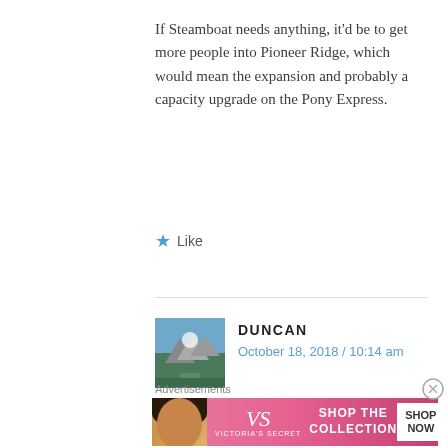If Steamboat needs anything, it'd be to get more people into Pioneer Ridge, which would mean the expansion and probably a capacity upgrade on the Pony Express.
★ Like
DUNCAN
October 18, 2018 / 10:14 am
How about Powdr Co?
Advertisements
[Figure (illustration): Victoria's Secret advertisement banner with a woman's face, VS logo, text 'SHOP THE COLLECTION', and 'SHOP NOW' button]